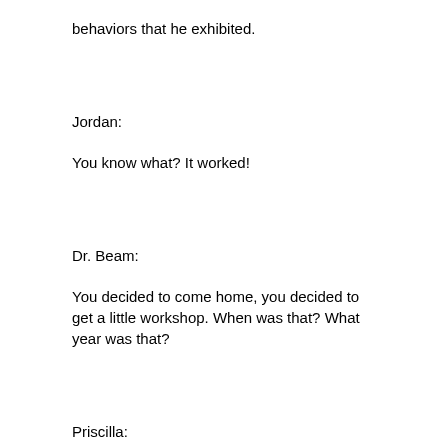behaviors that he exhibited.
Jordan:
You know what? It worked!
Dr. Beam:
You decided to come home, you decided to get a little workshop. When was that? What year was that?
Priscilla:
This was 2017. It was in February of 2017.